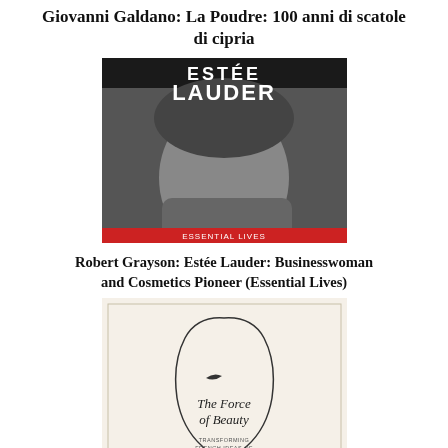Giovanni Galdano: La Poudre: 100 anni di scatole di cipria
[Figure (photo): Book cover of 'Estée Lauder' – Essential Lives series, showing a black and white photo of Estée Lauder with the title in large white text on dark background]
Robert Grayson: Estée Lauder: Businesswoman and Cosmetics Pioneer (Essential Lives)
[Figure (photo): Book cover of 'The Force of Beauty' by Holly Grout – cream/off-white cover with a line drawing of a woman's face/silhouette and cursive author name]
Holly Grout: The Force of Beauty: Transforming French Ideas of Femininity in the Third Republic